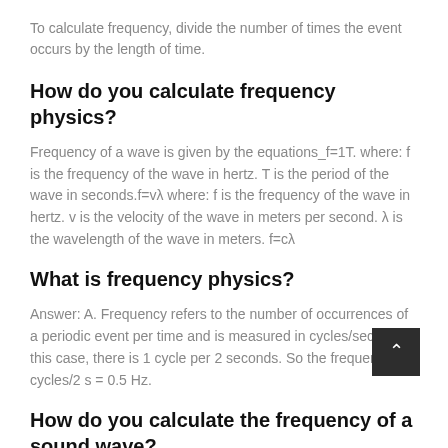To calculate frequency, divide the number of times the event occurs by the length of time.
How do you calculate frequency physics?
Frequency of a wave is given by the equations_f=1T. where: f is the frequency of the wave in hertz. T is the period of the wave in seconds.f=vλ where: f is the frequency of the wave in hertz. v is the velocity of the wave in meters per second. λ is the wavelength of the wave in meters. f=cλ
What is frequency physics?
Answer: A. Frequency refers to the number of occurrences of a periodic event per time and is measured in cycles/second. In this case, there is 1 cycle per 2 seconds. So the frequency is 1 cycles/2 s = 0.5 Hz.
How do you calculate the frequency of a sound wave?